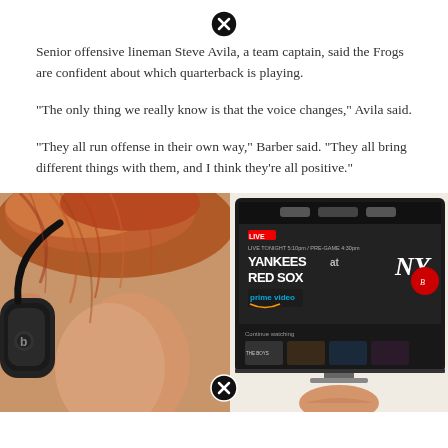[Figure (other): Close button / X icon at top center of page]
Senior offensive lineman Steve Avila, a team captain, said the Frogs are confident about which quarterback is playing.
“The only thing we really know is that the voice changes,” Avila said.
“They all run offense in their own way,” Barber said. “They all bring different things with them, and I think they’re all positive.”
[Figure (photo): Left half: close-up photo of a person with reddish hair wearing Beats headphones (over-ear, black). Right half: photo of a laptop or TV screen showing an Amazon Prime Video interface with 'YANKEES at RED SOX' game listing. A close/X button overlays the bottom center of the image composite.]